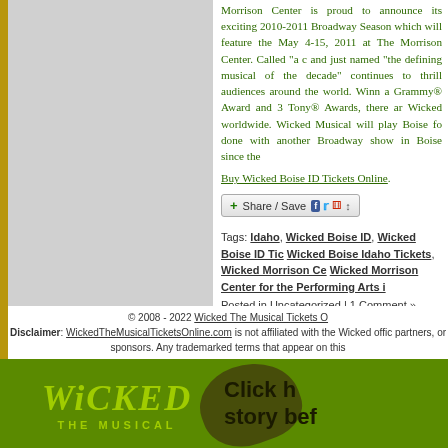Morrison Center is proud to announce its exciting 2010-2011 Broadway Season which will feature the May 4-15, 2011 at The Morrison Center. Called "a c and just named "the defining musical of the decade" continues to thrill audiences around the world. Winn a Grammy® Award and 3 Tony® Awards, there ar Wicked worldwide. Wicked Musical will play Boise fo done with another Broadway show in Boise since the
Buy Wicked Boise ID Tickets Online.
[Figure (other): Share/Save social media sharing button bar with Facebook, Twitter, and other social icons]
Tags: Idaho, Wicked Boise ID, Wicked Boise ID Tickets, Wicked Boise Idaho Tickets, Wicked Morrison Center, Wicked Morrison Center for the Performing Arts i
Posted in Uncategorized | 1 Comment »
© 2008 - 2022 Wicked The Musical Tickets Online. Disclaimer: WickedTheMusicalTicketsOnline.com is not affiliated with the Wicked official website, partners, or sponsors. Any trademarked terms that appear on this
[Figure (photo): Wicked The Musical banner advertisement with green background, dark witch shoe, Wicked logo in lime green, and text 'Click here' and 'story before']